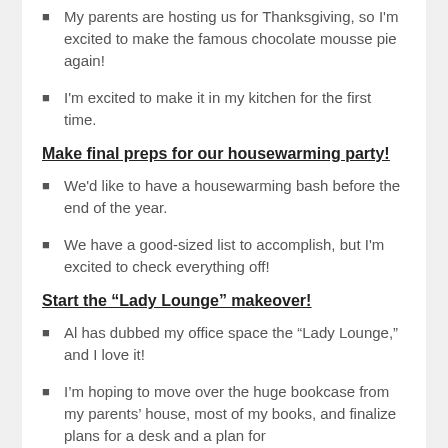My parents are hosting us for Thanksgiving, so I'm excited to make the famous chocolate mousse pie again!
I'm excited to make it in my kitchen for the first time.
Make final preps for our housewarming party!
We'd like to have a housewarming bash before the end of the year.
We have a good-sized list to accomplish, but I'm excited to check everything off!
Start the “Lady Lounge” makeover!
Al has dubbed my office space the “Lady Lounge,” and I love it!
I’m hoping to move over the huge bookcase from my parents’ house, most of my books, and finalize plans for a desk and a plan for